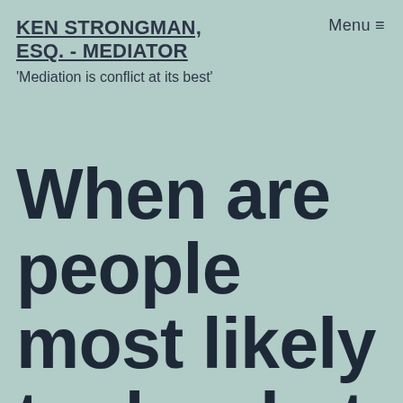KEN STRONGMAN, ESQ. - MEDIATOR
Menu ≡
'Mediation is conflict at its best'
When are people most likely to do what you ask?